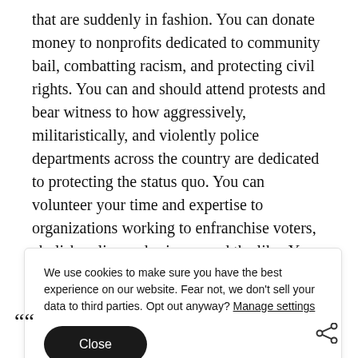that are suddenly in fashion. You can donate money to nonprofits dedicated to community bail, combatting racism, and protecting civil rights. You can and should attend protests and bear witness to how aggressively, militaristically, and violently police departments across the country are dedicated to protecting the status quo. You can volunteer your time and expertise to organizations working to enfranchise voters, abolish police and prisons, and the like. You can support political candidates at the local, state, and federal levels and canvas and vote in every election. But really, these are table stakes, the kind of community-
We use cookies to make sure you have the best experience on our website. Fear not, we don't sell your data to third parties. Opt out anyway? Manage settings
Close
““